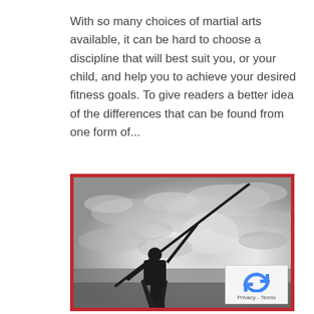With so many choices of martial arts available, it can be hard to choose a discipline that will best suit you, or your child, and help you to achieve your desired fitness goals. To give readers a better idea of the differences that can be found from one form of...
[Figure (photo): Black and white photo of a martial artist silhouette holding a staff (bo) raised toward the sky, with dramatic cloudy sky background. Image has a red border frame.]